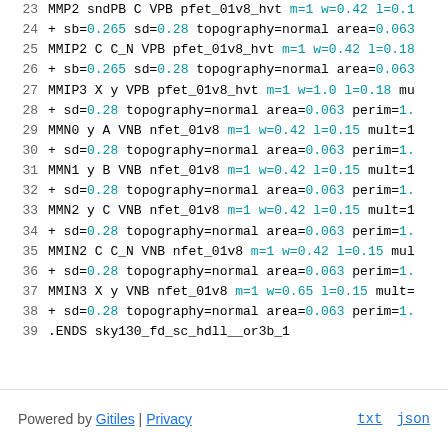23  MMP2 sndPB C VPB pfet_01v8_hvt m=1 w=0.42 l=0.1...
24  + sb=0.265 sd=0.28 topography=normal area=0.063...
25  MMIP2 C C_N VPB pfet_01v8_hvt m=1 w=0.42 l=0.18...
26  + sb=0.265 sd=0.28 topography=normal area=0.063...
27  MMIP3 X y VPB pfet_01v8_hvt m=1 w=1.0 l=0.18 mu...
28  + sd=0.28 topography=normal area=0.063 perim=1....
29  MMN0 y A VNB nfet_01v8 m=1 w=0.42 l=0.15 mult=1...
30  + sd=0.28 topography=normal area=0.063 perim=1....
31  MMN1 y B VNB nfet_01v8 m=1 w=0.42 l=0.15 mult=1...
32  + sd=0.28 topography=normal area=0.063 perim=1....
33  MMN2 y C VNB nfet_01v8 m=1 w=0.42 l=0.15 mult=1...
34  + sd=0.28 topography=normal area=0.063 perim=1....
35  MMIN2 C C_N VNB nfet_01v8 m=1 w=0.42 l=0.15 mul...
36  + sd=0.28 topography=normal area=0.063 perim=1....
37  MMIN3 X y VNB nfet_01v8 m=1 w=0.65 l=0.15 mult=...
38  + sd=0.28 topography=normal area=0.063 perim=1....
39  .ENDS sky130_fd_sc_hdll__or3b_1
Powered by Gitiles | Privacy    txt  json